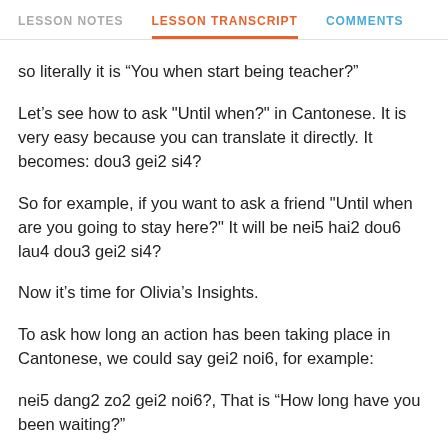LESSON NOTES   LESSON TRANSCRIPT   COMMENTS
so literally it is “You when start being teacher?”
Let’s see how to ask "Until when?" in Cantonese. It is very easy because you can translate it directly. It becomes: dou3 gei2 si4?
So for example, if you want to ask a friend "Until when are you going to stay here?" It will be nei5 hai2 dou6 lau4 dou3 gei2 si4?
Now it’s time for Olivia’s Insights.
To ask how long an action has been taking place in Cantonese, we could say gei2 noi6, for example:
nei5 dang2 zo2 gei2 noi6?, That is “How long have you been waiting?”